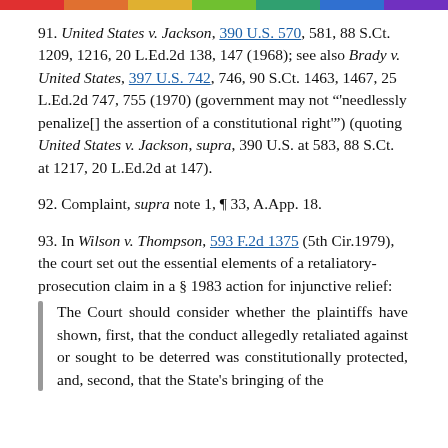91. United States v. Jackson, 390 U.S. 570, 581, 88 S.Ct. 1209, 1216, 20 L.Ed.2d 138, 147 (1968); see also Brady v. United States, 397 U.S. 742, 746, 90 S.Ct. 1463, 1467, 25 L.Ed.2d 747, 755 (1970) (government may not "'needlessly penalize[] the assertion of a constitutional right'") (quoting United States v. Jackson, supra, 390 U.S. at 583, 88 S.Ct. at 1217, 20 L.Ed.2d at 147).
92. Complaint, supra note 1, ¶ 33, A.App. 18.
93. In Wilson v. Thompson, 593 F.2d 1375 (5th Cir.1979), the court set out the essential elements of a retaliatory-prosecution claim in a § 1983 action for injunctive relief:
The Court should consider whether the plaintiffs have shown, first, that the conduct allegedly retaliated against or sought to be deterred was constitutionally protected, and, second, that the State's bringing of the